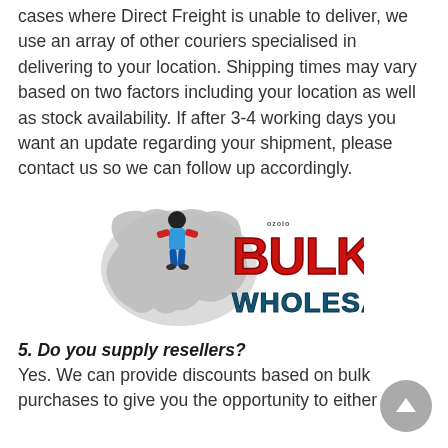cases where Direct Freight is unable to deliver, we use an array of other couriers specialised in delivering to your location. Shipping times may vary based on two factors including your location as well as stock availability. If after 3-4 working days you want an update regarding your shipment, please contact us so we can follow up accordingly.
[Figure (logo): Ozio Bulk Wholesale logo — a figure wearing a blue and red outfit shaped like the Australian continent, next to bold red text reading BULK WHOLESALE]
5. Do you supply resellers?
Yes. We can provide discounts based on bulk purchases to give you the opportunity to either resell or potentially boost your business the most